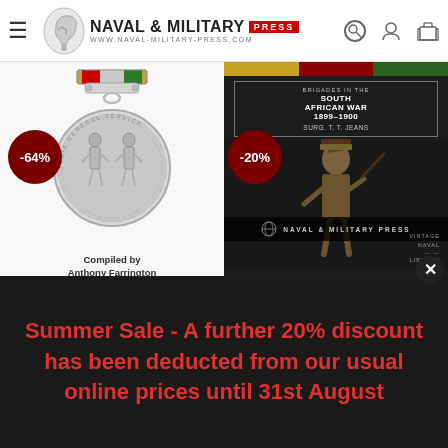Naval & Military Press — www.naval-military-press.com
[Figure (photo): India General Service Medal 1895 book cover showing a silver military medal with red and green ribbon, compiled by Anthony Farrington. Has a -64% discount badge.]
[Figure (photo): Naval Brigades in the South African War 1899-1900 book cover by Surg. T.T. Jeans, published by Naval & Military Press Vintage Naval Library. Has a -20% discount badge.]
INDIA GENERAL SERVICE MEDAL 1895 CASUALTY ROLL
£17.95
Summer Sale: £6.30
NAVAL BRIGADES IN THE
Summer Sale - A further 20% discount has been deducted from our usual online prices until 31st August